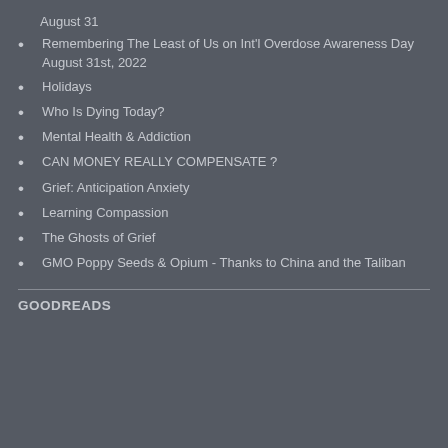August 31
Remembering The Least of Us on Int'l Overdose Awareness Day August 31st, 2022
Holidays
Who Is Dying Today?
Mental Health & Addiction
CAN MONEY REALLY COMPENSATE ?
Grief: Anticipation Anxiety
Learning Compassion
The Ghosts of Grief
GMO Poppy Seeds & Opium - Thanks to China and the Taliban
GOODREADS